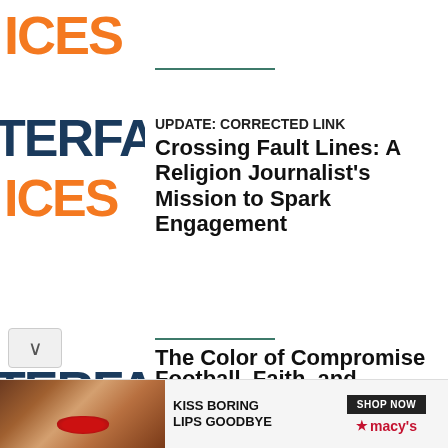[Figure (logo): Partial logo showing ICES in orange at top]
[Figure (logo): Partial logo showing TERFA in dark blue and ICES in orange]
UPDATE: CORRECTED LINK Crossing Fault Lines: A Religion Journalist's Mission to Spark Engagement
[Figure (logo): Partial logo showing TERFA in dark blue and ICES in orange]
Football, Faith, and America's Civil Religion
The Color of Compromise
[Figure (photo): Advertisement banner: KISS BORING LIPS GOODBYE with woman photo, SHOP NOW button and Macy's star logo]